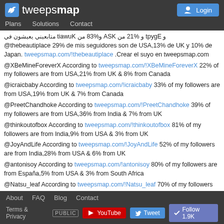tweepsmap — Plans Solutions Contact — Login
و Egypt و %12 من KSA و%38 من Kuwait متابعيني يعيشون في @thebeautiplace 29% de mis seguidores son de USA,13% de UK y 10% de Japan. tweepsmap.com/!thebeautiplace .Crear el suyo en tweepsmap.com
@XBeMineForeverX According to tweepsmap.com/!XBeMineForeverX 22% of my followers are from USA,21% from UK & 8% from Canada
@icraicbaby According to tweepsmap.com/!icraicbaby 33% of my followers are from USA,19% from UK & 7% from Canada
@PreetChandhoke According to tweepsmap.com/!PreetChandhoke 39% of my followers are from USA,36% from India & 7% from UK
@thinkoutofbox According to tweepsmap.com/!thinkoutofbox 81% of my followers are from India,9% from USA & 3% from UK
@JoyAndLife According to tweepsmap.com/!JoyAndLife 52% of my followers are from India,28% from USA & 6% from UK
@antonisoy According to tweepsmap.com/!antonisoy 80% of my followers are from España,5% from USA & 3% from South Africa
@Natsu_leaf According to tweepsmap.com/!Natsu_leaf 70% of my followers are from China,20% from Japan & 10% from UK
@GrayhOZ According to tweepsmap.com/!GrayhOZ 56% of my followers are
About FAQ Blog Contact — Terms & Privacy PUBLIC — YouTube Tweet Follow 1.9K